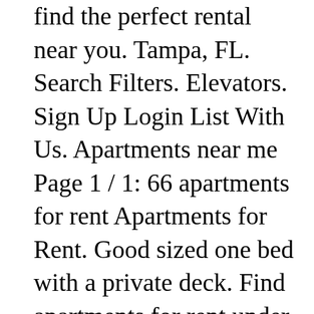find the perfect rental near you. Tampa, FL. Search Filters. Elevators. Sign Up Login List With Us. Apartments near me Page 1 / 1: 66 apartments for rent Apartments for Rent. Good sized one bed with a private deck. Find apartments for rent under $1000 in New York City NY on Zillow. This apartment is a 2 bedroom 1 bath and is roughly 620 square foot. Co-ops ... Home 2 bedroom apartments for rent under 1200 near me 2 Bedroom Apartments For Rent Under 1200 Near Me. Find Queens apartments, condos, townhomes, single family homes, and much more on Trulia. A studio apartment may offer plenty of space in your ideal neighborhood at a cheaper price point. Start Your Apartment